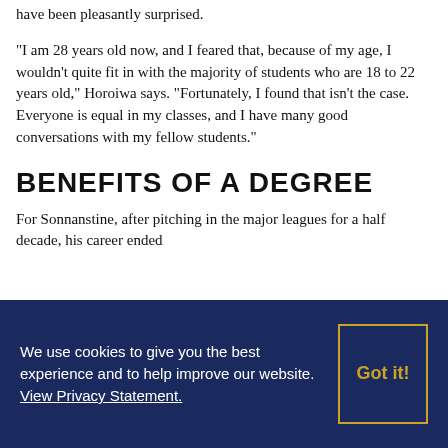have been pleasantly surprised.
"I am 28 years old now, and I feared that, because of my age, I wouldn't quite fit in with the majority of students who are 18 to 22 years old," Horoiwa says. "Fortunately, I found that isn't the case. Everyone is equal in my classes, and I have many good conversations with my fellow students."
BENEFITS OF A DEGREE
For Sonnanstine, after pitching in the major leagues for a half decade, his career ended
We use cookies to give you the best experience and to help improve our website. View Privacy Statement.